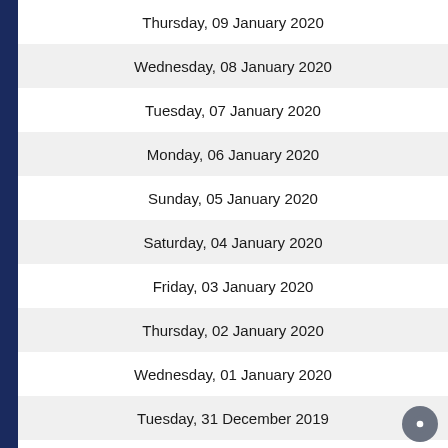Thursday, 09 January 2020
Wednesday, 08 January 2020
Tuesday, 07 January 2020
Monday, 06 January 2020
Sunday, 05 January 2020
Saturday, 04 January 2020
Friday, 03 January 2020
Thursday, 02 January 2020
Wednesday, 01 January 2020
Tuesday, 31 December 2019